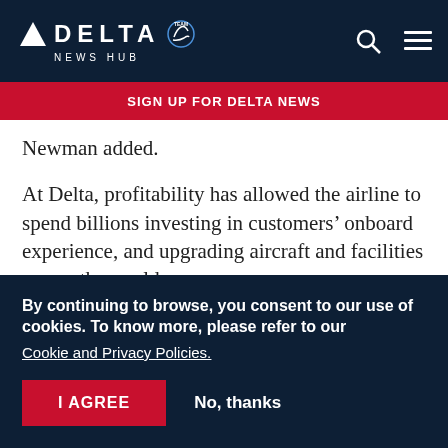DELTA NEWS HUB
SIGN UP FOR DELTA NEWS
Newman added.
At Delta, profitability has allowed the airline to spend billions investing in customers’ onboard experience, and upgrading aircraft and facilities across the world.
Delta offers among the industry’s highest
By continuing to browse, you consent to our use of cookies. To know more, please refer to our
Cookie and Privacy Policies.
I AGREE
No, thanks